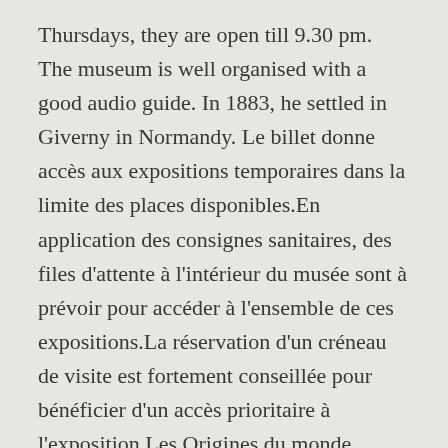Thursdays, they are open till 9.30 pm. The museum is well organised with a good audio guide. In 1883, he settled in Giverny in Normandy. Le billet donne accès aux expositions temporaires dans la limite des places disponibles.En application des consignes sanitaires, des files d'attente à l'intérieur du musée sont à prévoir pour accéder à l'ensemble de ces expositions.La réservation d'un créneau de visite est fortement conseillée pour bénéficier d'un accès prioritaire à l'exposition Les Origines du monde. Dernier accès à 17h. Découverte des collections Œuvres commentées. It was during this period that he began to paint series of certain subjects: haystacks, poplar trees, Rouen Cathedral, etc.